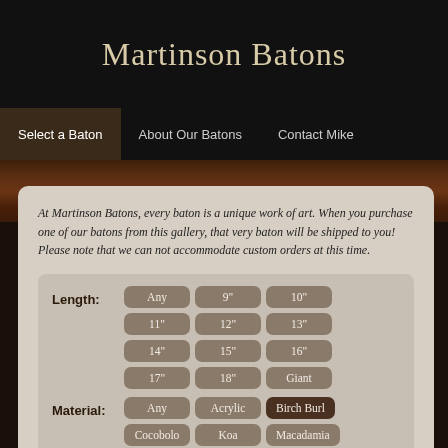Martinson Batons
Select a Baton | About Our Batons | Contact Mike
At Martinson Batons, every baton is a unique work of art. When you purchase one of our batons from this gallery, that very baton will be shipped to you! Please note that we can not accommodate custom orders at this time.
Length: Any 9" 10" 11" 12" 13" 14" 15" 16" 17" 18" Giant
Material: Any Acrylic Birch Burl Cocobolo Koa Macadamia Mango Caribou Antler